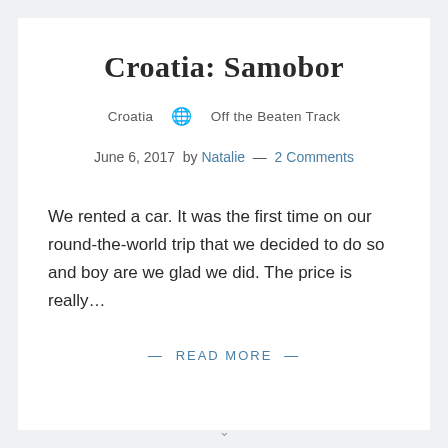Croatia: Samobor
Croatia  🌐  Off the Beaten Track
June 6, 2017  by Natalie — 2 Comments
We rented a car. It was the first time on our round-the-world trip that we decided to do so and boy are we glad we did. The price is really…
— READ MORE —